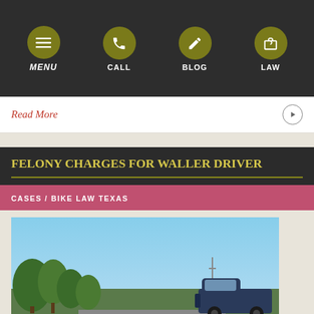MENU | CALL | BLOG | LAW
Read More
FELONY CHARGES FOR WALLER DRIVER
CASES / BIKE LAW TEXAS
[Figure (photo): Outdoor scene with blue sky, green trees on the left, and a vehicle (truck or SUV) on the right side of the frame, on a road.]